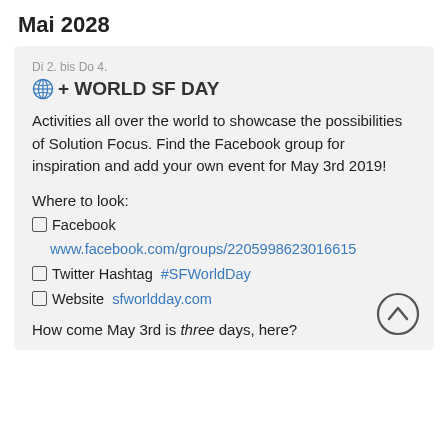Mai 2028
Di 2. bis Do 4.
⊕+ WORLD SF DAY
Activities all over the world to showcase the possibilities of Solution Focus. Find the Facebook group for inspiration and add your own event for May 3rd 2019!
Where to look:
Facebook
www.facebook.com/groups/2205998623016615
Twitter Hashtag #SFWorldDay
Website sfworldday.com
How come May 3rd is three days, here?